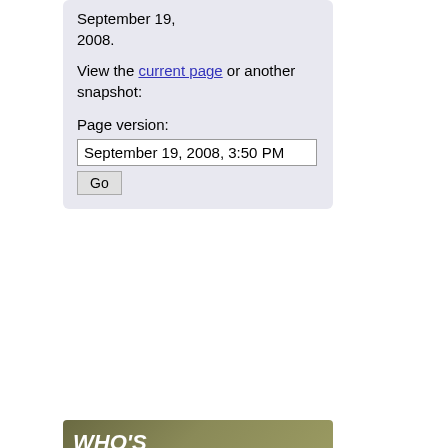September 19, 2008.
View the current page or another snapshot:
Page version:
September 19, 2008, 3:50 PM
[Figure (screenshot): A 'Go' button UI element]
[Figure (infographic): WHO'S HIRING IN MEDIA? advertisement banner with job listings including Senior Staff Editor NY - NYT, European Commodities Editor Berlin - Bloomberg, Tech Correspondent London - Reuters, Social Media position]
Senior Staff Editor, NY — NYT
European Commodities Editor, Berlin — Bloomberg
Tech Correspondent, London — Reuters
Social Media